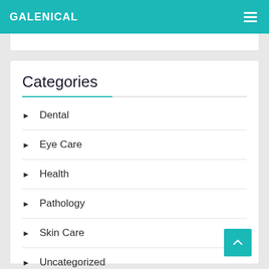GALENICAL
Categories
Dental
Eye Care
Health
Pathology
Skin Care
Uncategorized